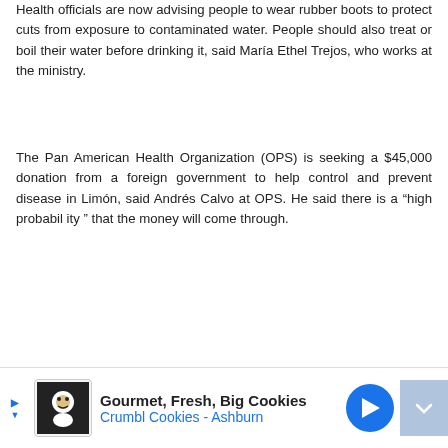Health officials are now advising people to wear rubber boots to protect cuts from exposure to contaminated water. People should also treat or boil their water before drinking it, said María Ethel Trejos, who works at the ministry.
The Pan American Health Organization (OPS) is seeking a $45,000 donation from a foreign government to help control and prevent disease in Limón, said Andrés Calvo at OPS. He said there is a "high probability" that the money will come through.
[Figure (other): Advertisement banner for Crumbl Cookies - Ashburn: Gourmet, Fresh, Big Cookies]